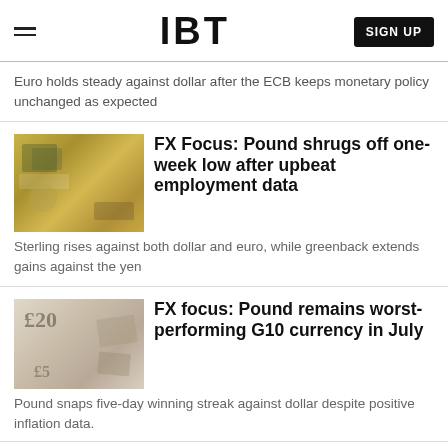IBT | SIGN UP
Euro holds steady against dollar after the ECB keeps monetary policy unchanged as expected
FX Focus: Pound shrugs off one-week low after upbeat employment data
Sterling rises against both dollar and euro, while greenback extends gains against the yen
FX focus: Pound remains worst-performing G10 currency in July
Pound snaps five-day winning streak against dollar despite positive inflation data.
FX focus: Sterling extends